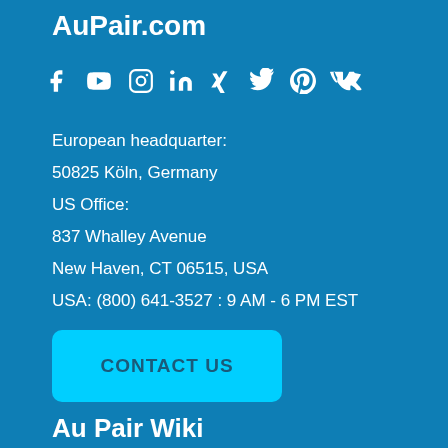AuPair.com
[Figure (illustration): Social media icons row: Facebook, YouTube, Instagram, LinkedIn, Xing, Twitter, Pinterest, VK]
European headquarter:
50825 Köln, Germany
US Office:
837 Whalley Avenue
New Haven, CT 06515, USA
USA: (800) 641-3527 : 9 AM - 6 PM EST
CONTACT US
Au Pair Wiki